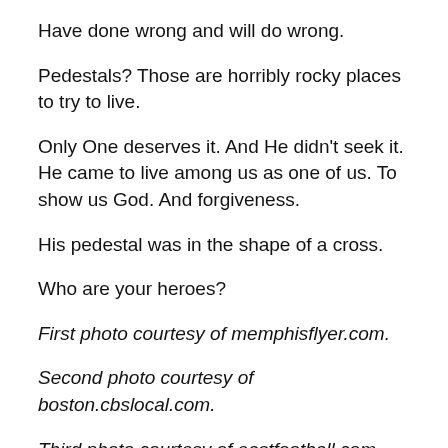Have done wrong and will do wrong.
Pedestals? Those are horribly rocky places to try to live.
Only One deserves it. And He didn't seek it. He came to live among us as one of us. To show us God. And forgiveness.
His pedestal was in the shape of a cross.
Who are your heroes?
First photo courtesy of memphisflyer.com.
Second photo courtesy of boston.cbslocal.com.
Third photo courtesy of eastfootball.com.